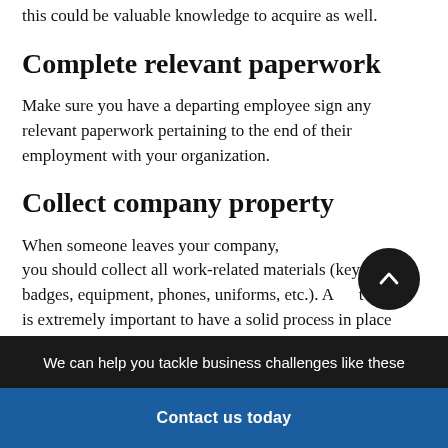this could be valuable knowledge to acquire as well.
Complete relevant paperwork
Make sure you have a departing employee sign any relevant paperwork pertaining to the end of their employment with your organization.
Collect company property
When someone leaves your company, you should collect all work-related materials (keys, badges, equipment, phones, uniforms, etc.). A it is extremely important to have a solid process in place
We can help you tackle business challenges like these
Contact us today